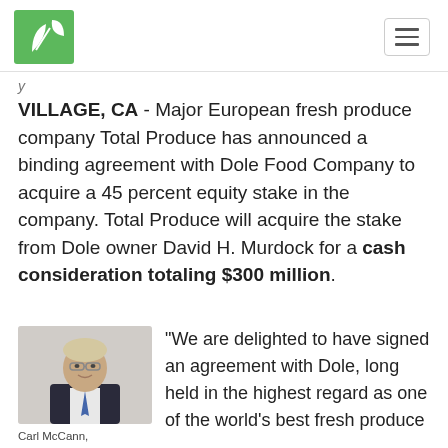VILLAGE, CA - Major European fresh produce company Total Produce has announced a binding agreement with Dole Food Company to acquire a 45 percent equity stake in the company. Total Produce will acquire the stake from Dole owner David H. Murdock for a cash consideration totaling $300 million.
[Figure (photo): Portrait photo of Carl McCann, Chairman, Total (Produce)]
Carl McCann, Chairman, Total
“We are delighted to have signed an agreement with Dole, long held in the highest regard as one of the world’s best fresh produce